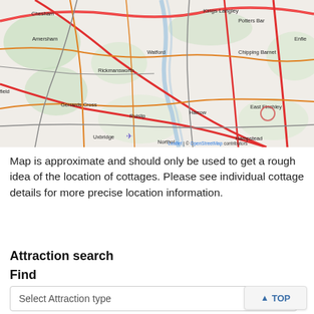[Figure (map): OpenStreetMap showing area northwest of London including Kings Langley, Chesham, Amersham, Potters Bar, Chipping Barnet, Watford, Rickmansworth, Gerrards Cross, Ruislip, Harrow, East Finchley, Uxbridge, Northolt, Hampstead. Red and orange road network visible. Attribution: Leaflet | © OpenStreetMap contributors.]
Map is approximate and should only be used to get a rough idea of the location of cottages. Please see individual cottage details for more precise location information.
Attraction search
Find
Select Attraction type